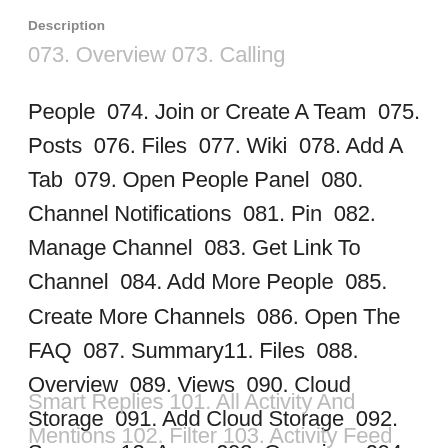Description
People  074. Join or Create A Team  075. Posts  076. Files  077. Wiki  078. Add A Tab  079. Open People Panel  080. Channel Notifications  081. Pin  082. Manage Channel  083. Get Link To Channel  084. Add More People  085. Create More Channels  086. Open The FAQ  087. Summary11. Files  088. Overview  089. Views  090. Cloud Storage  091. Add Cloud Storage  092. Summary12. Apps  093. Overview  094. All  095. Personal Apps  096. Bots  097. Tabs  098. Connectors  099. Messaging  100.